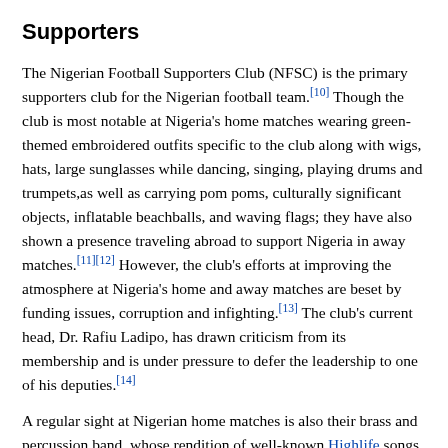Supporters
The Nigerian Football Supporters Club (NFSC) is the primary supporters club for the Nigerian football team.[10] Though the club is most notable at Nigeria's home matches wearing green-themed embroidered outfits specific to the club along with wigs, hats, large sunglasses while dancing, singing, playing drums and trumpets,as well as carrying pom poms, culturally significant objects, inflatable beachballs, and waving flags; they have also shown a presence traveling abroad to support Nigeria in away matches.[11][12] However, the club's efforts at improving the atmosphere at Nigeria's home and away matches are beset by funding issues, corruption and infighting.[13] The club's current head, Dr. Rafiu Ladipo, has drawn criticism from its membership and is under pressure to defer the leadership to one of his deputies.[14]
A regular sight at Nigerian home matches is also their brass and percussion band, whose rendition of well-known Highlife songs provides Nigerian home matches with a unique feel. In Nigeria, these performers are occasionally conspicuous with their military uniforms or they may be members of the Football Supporters Club